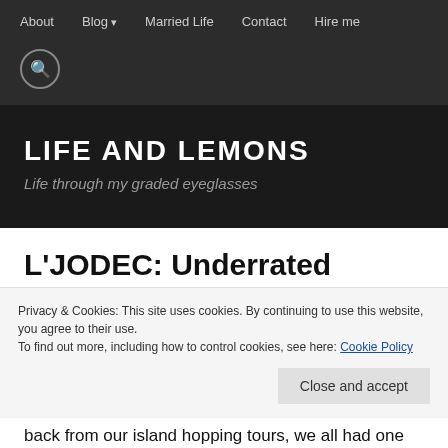About  Blog  Married Life  Contact  Hire me
LIFE AND LEMONS
Life through my graded eyeglasses
L'JODEC: Underrated Restaurant in El Nido
Privacy & Cookies: This site uses cookies. By continuing to use this website, you agree to their use.
To find out more, including how to control cookies, see here: Cookie Policy
back from our island hopping tours, we all had one